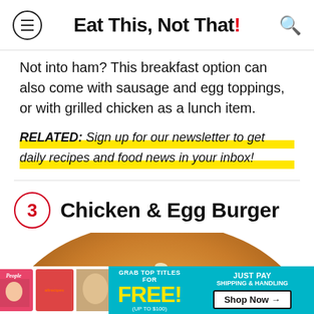Eat This, Not That!
Not into ham? This breakfast option can also come with sausage and egg toppings, or with grilled chicken as a lunch item.
RELATED: Sign up for our newsletter to get daily recipes and food news in your inbox!
3 Chicken & Egg Burger
[Figure (photo): Top of a sesame seed burger bun, golden-brown, viewed from above]
[Figure (infographic): Advertisement banner: Grab top titles for FREE! (up to $100) Just pay shipping & handling. Shop Now arrow. Shows People and allrecipes magazine covers.]